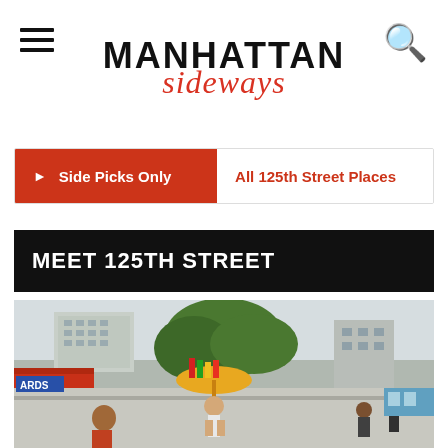MANHATTAN sideways
Side Picks Only | All 125th Street Places
MEET 125TH STREET
[Figure (photo): Street-level photo of 125th Street in Harlem, Manhattan, showing pedestrians, street vendors with colorful flags, trees, and urban buildings in the background on a partly cloudy day.]